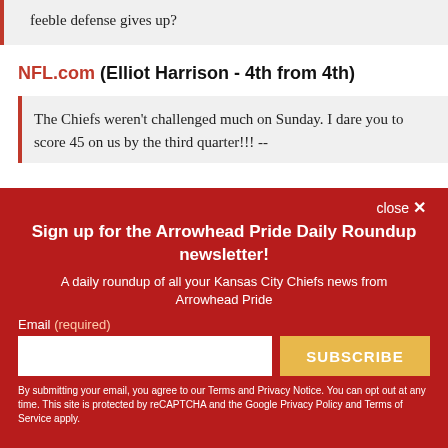feeble defense gives up?
NFL.com (Elliot Harrison - 4th from 4th)
The Chiefs weren't challenged much on Sunday. I dare you to score 45 on us by the third quarter!!! --
Sign up for the Arrowhead Pride Daily Roundup newsletter!
A daily roundup of all your Kansas City Chiefs news from Arrowhead Pride
Email (required)
SUBSCRIBE
By submitting your email, you agree to our Terms and Privacy Notice. You can opt out at any time. This site is protected by reCAPTCHA and the Google Privacy Policy and Terms of Service apply.